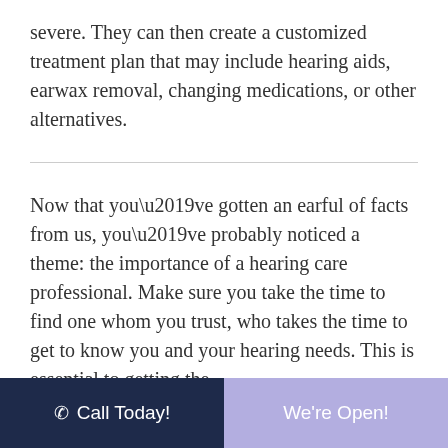severe. They can then create a customized treatment plan that may include hearing aids, earwax removal, changing medications, or other alternatives.
Now that you’ve gotten an earful of facts from us, you’ve probably noticed a theme: the importance of a hearing care professional. Make sure you take the time to find one whom you trust, who takes the time to get to know you and your hearing needs. This is essential to getting the
Call Today! | We're Open!